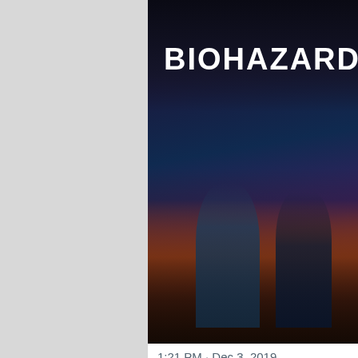[Figure (screenshot): Screenshot of a Twitter/social media post showing Biohazard RE:3 game promotional images. Two game cover images visible - main image showing 'BIOHAZARD RE:3' title with characters, and side panel with partial text 'RESIDE' and 'BIOHAZ'. Timestamp reads 1:21 PM · Dec 3, 2019. Below shows avatar, 'Read the full conversation on Twitter' link, heart icon with 35.4K likes, Reply button, Copy link button, and 'Read 1.2K replies' button. Bottom text reads 'The Game Awards will be streaming live... ember... anticipated. Project Resistance, a four on one multipla... be launched for 2020.']